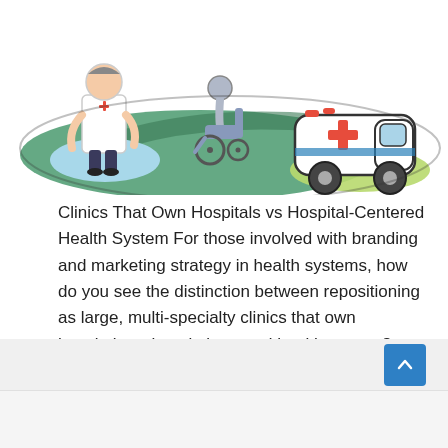[Figure (illustration): Cartoon illustration of a doctor/nurse in white coat with a red cross badge, a wheelchair user, and an ambulance with a red cross on a green and blue background with road.]
Clinics That Own Hospitals vs Hospital-Centered Health System For those involved with branding and marketing strategy in health systems, how do you see the distinction between repositioning as large, multi-specialty clinics that own hospitals vs hospital-centred health system? Maybe more importantly, how does your health system define (or redefine) itself going forward? As everyone in ...
Read More »